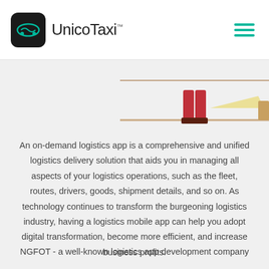UnicoTaxi™
[Figure (illustration): Partial illustration showing legs of a delivery person near a vehicle, with a warm/teal color scheme]
An on-demand logistics app is a comprehensive and unified logistics delivery solution that aids you in managing all aspects of your logistics operations, such as the fleet, routes, drivers, goods, shipment details, and so on. As technology continues to transform the burgeoning logistics industry, having a logistics mobile app can help you adopt digital transformation, become more efficient, and increase business profits.
NGFOT - a well-known logistics app development company